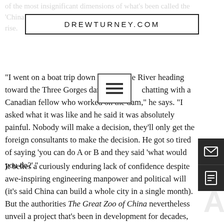DREWTURNEY.COM
"I went on a boat trip down the Yangtse River heading toward the Three Gorges dam where I was chatting with a Canadian fellow who worked on the dam," he says. "I asked what it was like and he said it was absolutely painful. Nobody will make a decision, they'll only get the foreign consultants to make the decision. He got so tired of saying 'you can do A or B and they said 'what would you do?'."
It belies a curiously enduring lack of confidence despite awe-inspiring engineering manpower and political will (it's said China can build a whole city in a single month). But the authorities The Great Zoo of China nevertheless unveil a project that's been in development for decades, and when it all goes wrong as soon as it's ready to reveal to the world, you'll be reminded of another cultural touchstone.
"Anyone who's heard me speak knows Jurassic Park is the book that inspired me to be a novelist," Reilly says. "As soon as you put large reptillian creatures in an enclosure people